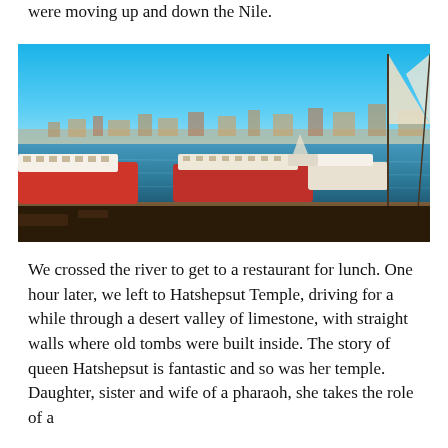were moving up and down the Nile.
[Figure (photo): Photograph of the Nile River with several boats and feluccas moored along the shore, city and hills visible in the background under a clear blue sky.]
We crossed the river to get to a restaurant for lunch. One hour later, we left to Hatshepsut Temple, driving for a while through a desert valley of limestone, with straight walls where old tombs were built inside. The story of queen Hatshepsut is fantastic and so was her temple. Daughter, sister and wife of a pharaoh, she takes the role of a